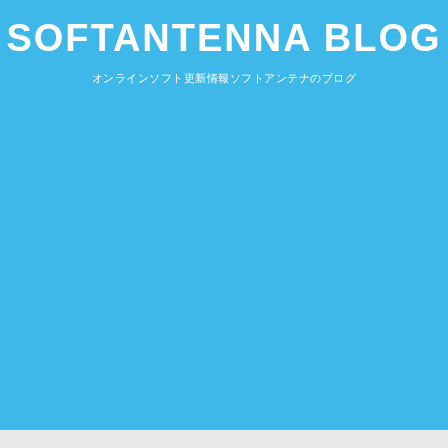SOFTANTENNA BLOG
オンラインソフト更新情報ソフトアンテナのブログ